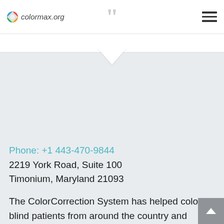colormax.org
Phone: +1 443-470-9844
2219 York Road, Suite 100
Timonium, Maryland 21093
The ColorCorrection System has helped color blind patients from around the country and around the world: